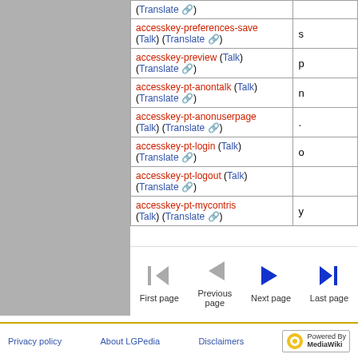| Message | Value |
| --- | --- |
| (Translate) |  |
| accesskey-preferences-save (Talk) (Translate) | s |
| accesskey-preview (Talk) (Translate) | p |
| accesskey-pt-anontalk (Talk) (Translate) | n |
| accesskey-pt-anonuserpage (Talk) (Translate) | . |
| accesskey-pt-login (Talk) (Translate) | o |
| accesskey-pt-logout (Talk) (Translate) |  |
| accesskey-pt-mycontris (Talk) (Translate) | y |
First page | Previous page | Next page | Last page
Privacy policy   About LGPedia   Disclaimers